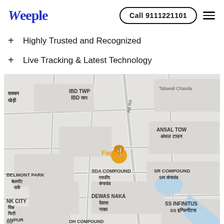Weeple
Highly Trusted and Recognized
Live Tracking & Latest Technology
[Figure (map): Google Maps screenshot showing an area in Indore, India with locations including IBD TWP, Talawali Chanda, Ansal Town, SDA Compound, SR Compound, Belmont Park, Dewas Naka, SS Infinitus, and a restaurant pin labeled Fagun on AB Road.]